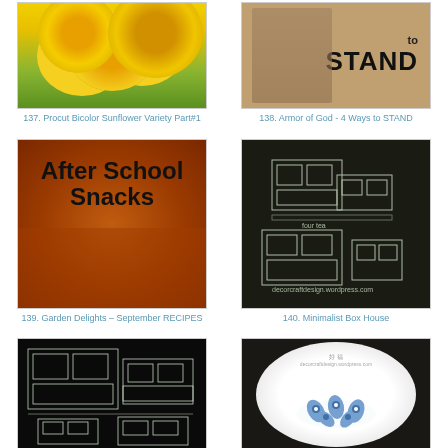[Figure (photo): Close-up of yellow sunflowers with green foliage]
137. Procut Bicolor Sunflower Variety Part#1
[Figure (photo): Armor of God - text saying 'to STAND' with figures in background]
138. Armor of God - 4 Ways to STAND
[Figure (photo): After School Snacks recipe image with orange/brown food]
139. Garden Delights – September RECIPES
[Figure (photo): Minimalist Box House design sketch on dark background]
140. Minimalist Box House
[Figure (photo): Minimalist Box House wireframe illustration on black background]
[Figure (photo): White plate with blue flower decoration on dark background]